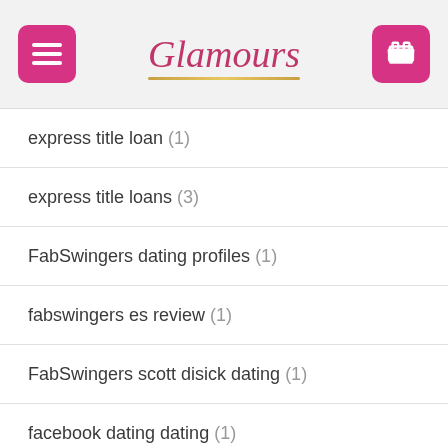Glamours
express title loan (1)
express title loans (3)
FabSwingers dating profiles (1)
fabswingers es review (1)
FabSwingers scott disick dating (1)
facebook dating dating (1)
facebook dating sign in (1)
fargo escort (1)
farmers dating sign in (1)
farmers dating site rencontre (1)